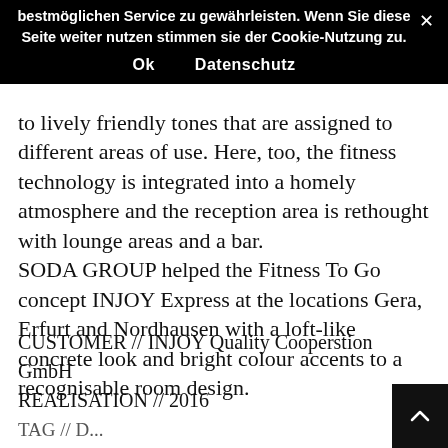bestmöglichen Service zu gewährleisten. Wenn Sie diese Seite weiter nutzen stimmen sie der Cookie-Nutzung zu.
Ok   Datenschutz
to lively friendly tones that are assigned to different areas of use. Here, too, the fitness technology is integrated into a homely atmosphere and the reception area is rethought with lounge areas and a bar. SODA GROUP helped the Fitness To Go concept INJOY Express at the locations Gera, Erfurt and Nordhausen with a loft-like concrete look and bright colour accents to a recognisable room design.
CUSTOMER // INJOY Quality Cooperstion GmbH
REALISATION // 2016
TAG // ...